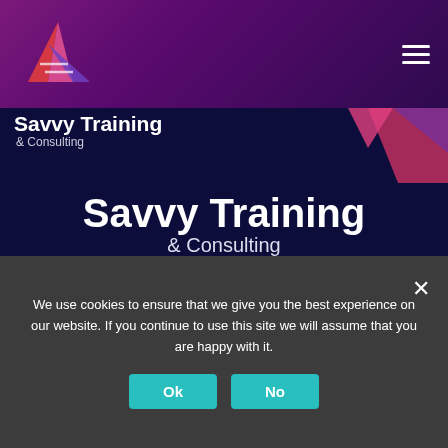[Figure (logo): Savvy Training & Consulting logo with geometric triangle/arrow shape in pink and purple gradients, shown in nav bar]
Savvy Training & Consulting
Savvy Training & Consulting
We use cookies to ensure that we give you the best experience on our website. If you continue to use this site we will assume that you are happy with it.